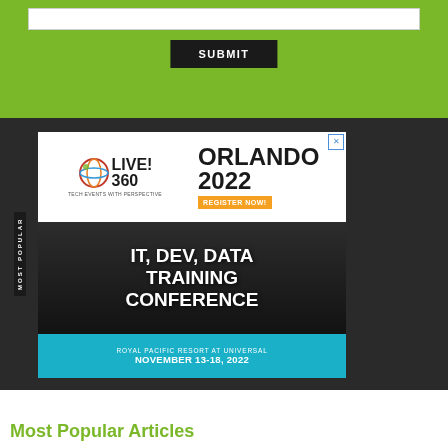[Figure (screenshot): Green background section with white input bar at top and black SUBMIT button below]
[Figure (infographic): Live! 360 Tech Events advertisement banner. Orlando 2022, IT, Dev, Data Training Conference at Royal Pacific Resort at Universal, November 13-18, 2022. Register Now button in orange.]
Most Popular Articles